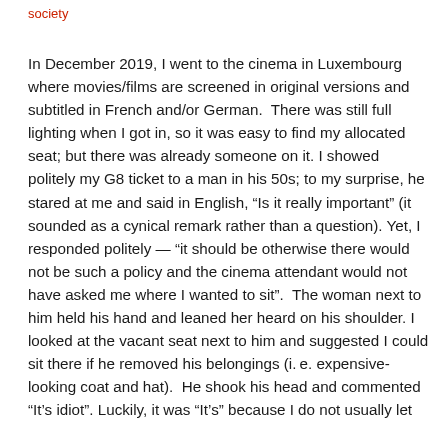society
In December 2019, I went to the cinema in Luxembourg where movies/films are screened in original versions and subtitled in French and/or German.  There was still full lighting when I got in, so it was easy to find my allocated seat; but there was already someone on it. I showed politely my G8 ticket to a man in his 50s; to my surprise, he stared at me and said in English, “Is it really important” (it sounded as a cynical remark rather than a question). Yet, I responded politely — “it should be otherwise there would not be such a policy and the cinema attendant would not have asked me where I wanted to sit”.  The woman next to him held his hand and leaned her heard on his shoulder. I looked at the vacant seat next to him and suggested I could sit there if he removed his belongings (i. e. expensive-looking coat and hat).  He shook his head and commented “It’s idiot”. Luckily, it was “It’s” because I do not usually let